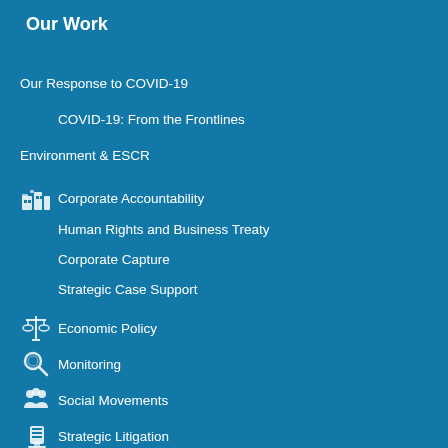Our Work
Our Response to COVID-19
COVID-19: From the Frontlines
Environment & ESCR
Corporate Accountability
Human Rights and Business Treaty
Corporate Capture
Strategic Case Support
Economic Policy
Monitoring
Social Movements
Strategic Litigation
Support to Strategic Litigation
Implementation
Caselaw Database